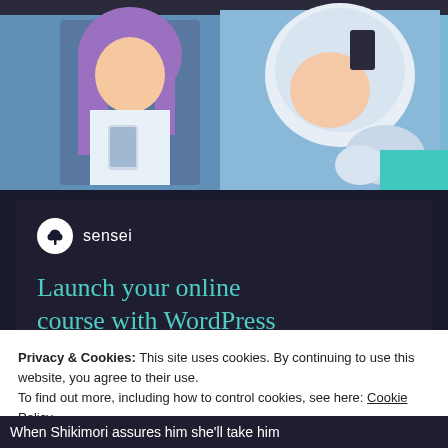[Figure (illustration): Anime scene showing two characters: one with purple hair holding something, and another with a white helmet/headgear, set against a blue background]
[Figure (infographic): Advertisement banner for Sensei: dark background with logo, teal headline text 'Launch your online course with WordPress' and a teal 'Learn More' button]
Privacy & Cookies: This site uses cookies. By continuing to use this website, you agree to their use.
To find out more, including how to control cookies, see here: Cookie Policy
Close and accept
When Shikimori assures him she'll take him